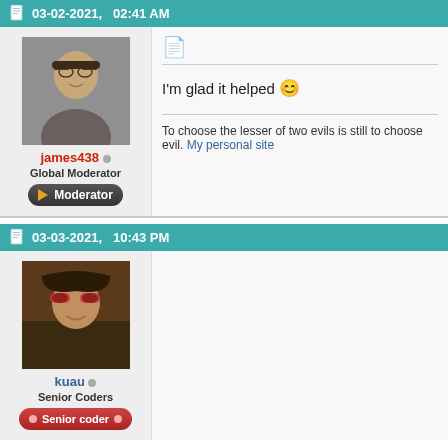03-02-2021,  02:41 AM
james438 ○
Global Moderator
Moderator
[Figure (photo): Profile photo of james438, a man with glasses smiling]
I'm glad it helped 🙂
To choose the lesser of two evils is still to choose evil. My personal site
03-03-2021,  10:43 PM
kuau ○
Senior Coders
Senior coder
[Figure (photo): Profile photo of kuau, a woman with sunglasses smiling]